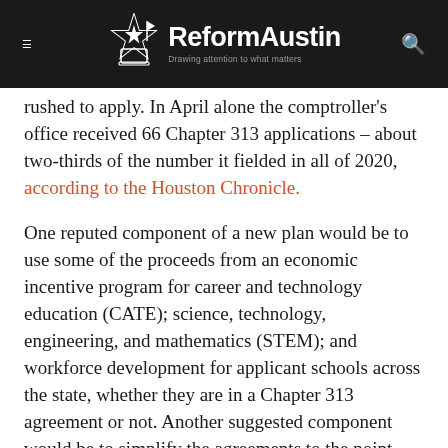ReformAustin — Drawing attention to what matters
rushed to apply. In April alone the comptroller's office received 66 Chapter 313 applications – about two-thirds of the number it fielded in all of 2020, according to the Houston Chronicle.
One reputed component of a new plan would be to use some of the proceeds from an economic incentive program for career and technology education (CATE); science, technology, engineering, and mathematics (STEM); and workforce development for applicant schools across the state, whether they are in a Chapter 313 agreement or not. Another suggested component would be to simplify the agreements to the point where consultants are not needed by public school districts.
Reportedly, some business leaders may turn to former